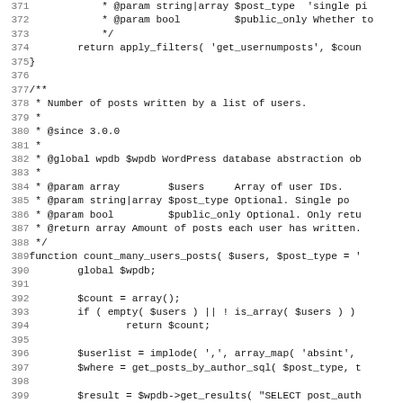[Figure (screenshot): Source code listing of PHP code for WordPress, showing lines 372-403. Code includes a function count_many_users_posts with docblock comments and implementation using $wpdb.]